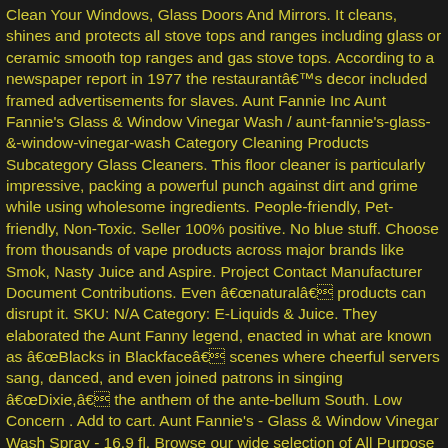Clean Your Windows, Glass Doors And Mirrors. It cleans, shines and protects all stove tops and ranges including glass or ceramic smooth top ranges and gas stove tops. According to a newspaper report in 1977 the restaurantâs decor included framed advertisements for slaves. Aunt Fannie Inc Aunt Fannie’s Glass & Window Vinegar Wash / aunt-fannie’s-glass-&-window-vinegar-wash Category Cleaning Products Subcategory Glass Cleaners. This floor cleaner is particularly impressive, packing a powerful punch against dirt and grime while using wholesome ingredients. People-friendly, Pet-friendly, Non-Toxic. Seller 100% positive. No blue stuff. Choose from thousands of vape products across major brands like Smok, Nasty Juice and Aspire. Project Contact Manufacturer Document Contributions. Even ânaturalâ products can disrupt it. SKU: N/A Category: E-Liquids & Juice. They elaborated the Aunt Fanny legend, enacted in what are known as âBlacks in Blackfaceâ scenes where cheerful servers sang, danced, and even joined patrons in singing âDixie,â the anthem of the ante-bellum South. Low Concern . Add to cart. Aunt Fannie’s - Glass & Window Vinegar Wash Spray - 16.9 fl. Browse our wide selection of All Purpose Cleaners for Delivery or Drive Up & Go to pick up at the store! Aunt Fannieâs Glass & Window Cleaning Vinegar Wash - Natural Streak-Free Glass Cleaner - 16.9 oz Bottle (6-Pack): Amazon.in: Health & Personal Care Free shipping on most orders! $19.99 Aunt Fannies Vinegar Wipes Eucalyptus, (Single Pack 25 Count) Aunt of Fannie: 500. They elaborated Aunt Fanny legend